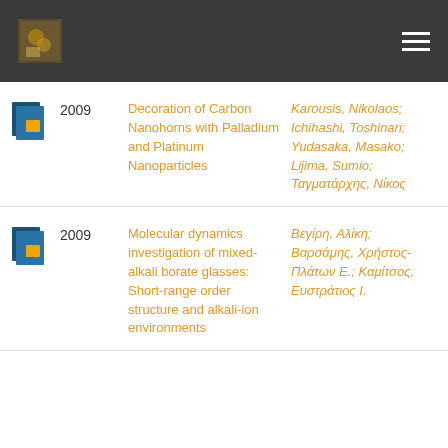2009 | Decoration of Carbon Nanohorns with Palladium and Platinum Nanoparticles | Karousis, Nikolaos; Ichihashi, Toshinari; Yudasaka, Masako; Lijima, Sumio; Ταγματάρχης, Νίκος
2009 | Molecular dynamics investigation of mixed-alkali borate glasses: Short-range order structure and alkali-ion environments | Βεγίρη, Αλίκη; Βαρσάμης, Χρήστος-Πλάτων Ε.; Καμίτσος, Ευστράτιος Ι.